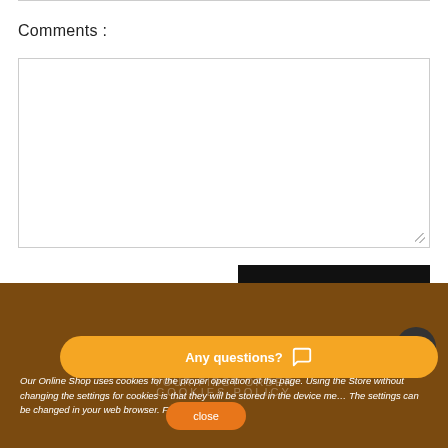Comments :
[Figure (screenshot): Empty textarea input box for comments with resize handle in bottom-right corner]
SIGN IN TO COMMENT
[Figure (screenshot): Dark circular scroll-to-top arrow button]
NEWSLETTER
SUBSCRIBE AND RECEIVE A DISCOUNT ON YOUR FIRST ORDER
COOKIES POLICY
Our Online Shop uses cookies for the proper operation of the page. Using the Store without changing the settings for cookies is that they will be stored in the device me... The settings can be changed in your web browser. For ... side in the
[Figure (screenshot): Orange rounded 'Any questions?' chat button with speech bubble icon]
close